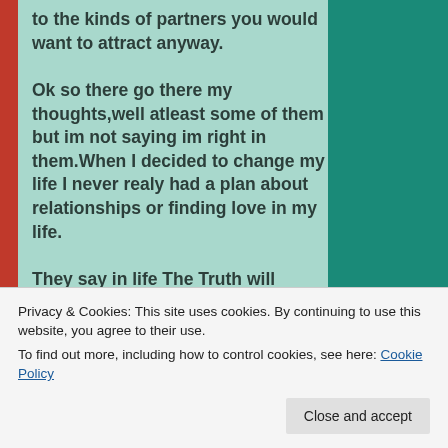to the kinds of partners you would want to attract anyway.

Ok so there go there my thoughts,well atleast some of them but im not saying im right in them.When I decided to change my life I never realy had a plan about relationships or finding love in my life.

They say in life The Truth will eventualy find you.For me I feel like the moment of Truth is looming. Its only a matter of time before my Bell will ring to be answered and the fire that's been stoaked over the past
Privacy & Cookies: This site uses cookies. By continuing to use this website, you agree to their use.
To find out more, including how to control cookies, see here: Cookie Policy